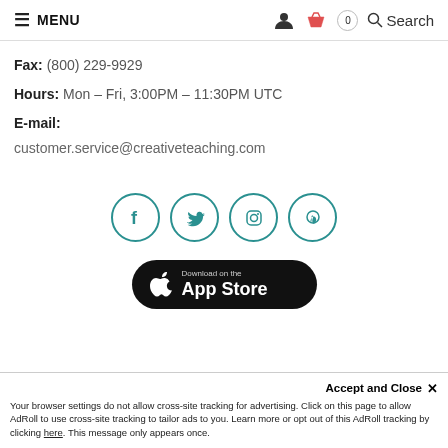MENU | Search
Fax: (800) 229-9929
Hours: Mon - Fri, 3:00PM - 11:30PM UTC
E-mail:
customer.service@creativeteaching.com
[Figure (infographic): Four social media icons in teal circles: Facebook, Twitter, Instagram, Pinterest]
[Figure (infographic): Download on the App Store button, black rounded rectangle with Apple logo]
Accept and Close ✕
Your browser settings do not allow cross-site tracking for advertising. Click on this page to allow AdRoll to use cross-site tracking to tailor ads to you. Learn more or opt out of this AdRoll tracking by clicking here. This message only appears once.